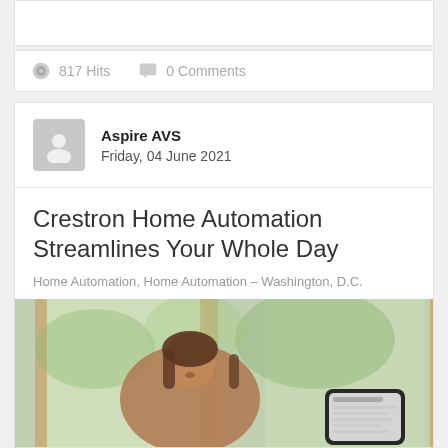817 Hits   0 Comments
Aspire AVS
Friday, 04 June 2021
Crestron Home Automation Streamlines Your Whole Day
Home Automation, Home Automation – Washington, D.C.
[Figure (photo): Woman looking down at a smartphone, seated near large windows with greenery visible outside, with a phone screen visible in the lower right corner.]